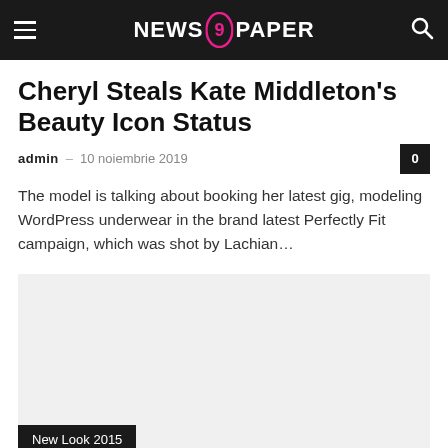NEWS 9 PAPER
Cheryl Steals Kate Middleton's Beauty Icon Status
admin – 10 noiembrie 2019  0
The model is talking about booking her latest gig, modeling WordPress underwear in the brand latest Perfectly Fit campaign, which was shot by Lachian...
[Figure (photo): Article image placeholder for beauty editorial content]
New Look 2015